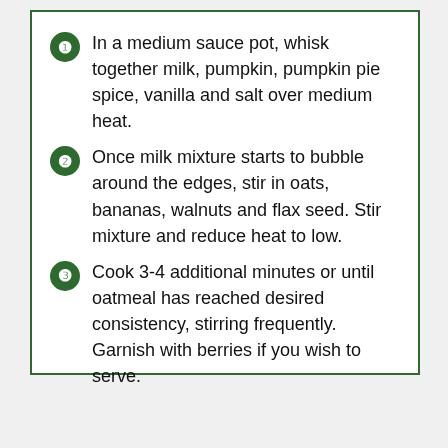In a medium sauce pot, whisk together milk, pumpkin, pumpkin pie spice, vanilla and salt over medium heat.
Once milk mixture starts to bubble around the edges, stir in oats, bananas, walnuts and flax seed. Stir mixture and reduce heat to low.
Cook 3-4 additional minutes or until oatmeal has reached desired consistency, stirring frequently. Garnish with berries if you wish to serve.